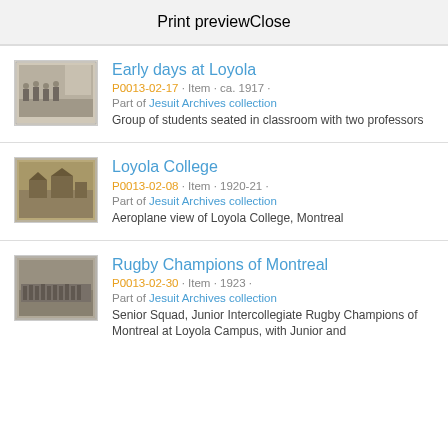Print preview   Close
Early days at Loyola
P0013-02-17 · Item · ca. 1917 · Part of Jesuit Archives collection
Group of students seated in classroom with two professors
Loyola College
P0013-02-08 · Item · 1920-21 · Part of Jesuit Archives collection
Aeroplane view of Loyola College, Montreal
Rugby Champions of Montreal
P0013-02-30 · Item · 1923 · Part of Jesuit Archives collection
Senior Squad, Junior Intercollegiate Rugby Champions of Montreal at Loyola Campus, with Junior and